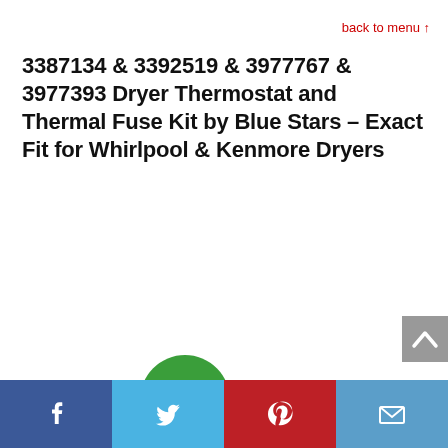back to menu ↑
3387134 & 3392519 & 3977767 & 3977393 Dryer Thermostat and Thermal Fuse Kit by Blue Stars – Exact Fit for Whirlpool & Kenmore Dryers
[Figure (infographic): Green circular badge showing -42% discount]
[Figure (infographic): Grey scroll-to-top button with upward chevron arrow]
[Figure (infographic): Footer social sharing bar with Facebook, Twitter, Pinterest, and Email icons]